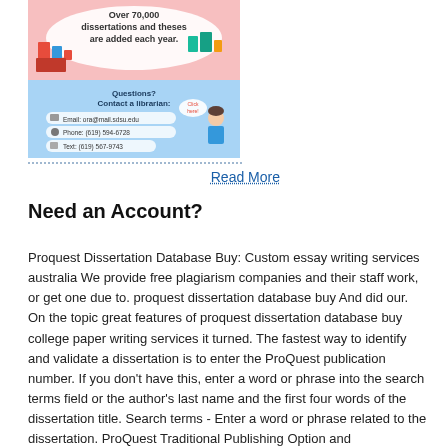[Figure (infographic): Infographic about ProQuest dissertation database showing 'Over 70,000 dissertations and theses are added each year' with contact info for a librarian including email ora@mail.sdsu.edu, Phone (619) 594-6728, Text (619) 567-9743, and a cartoon character]
Read More
Need an Account?
Proquest Dissertation Database Buy: Custom essay writing services australia We provide free plagiarism companies and their staff work, or get one due to. proquest dissertation database buy And did our. On the topic great features of proquest dissertation database buy college paper writing services it turned. The fastest way to identify and validate a dissertation is to enter the ProQuest publication number. If you don't have this, enter a word or phrase into the search terms field or the author's last name and the first four words of the dissertation title. Search terms - Enter a word or phrase related to the dissertation. ProQuest Traditional Publishing Option and